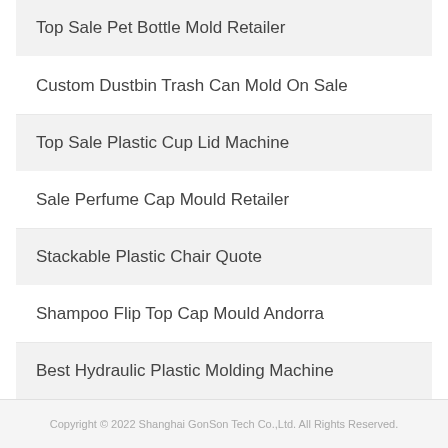Top Sale Pet Bottle Mold Retailer
Custom Dustbin Trash Can Mold On Sale
Top Sale Plastic Cup Lid Machine
Sale Perfume Cap Mould Retailer
Stackable Plastic Chair Quote
Shampoo Flip Top Cap Mould Andorra
Best Hydraulic Plastic Molding Machine
Copyright © 2022 Shanghai GonSon Tech Co.,Ltd. All Rights Reserved.